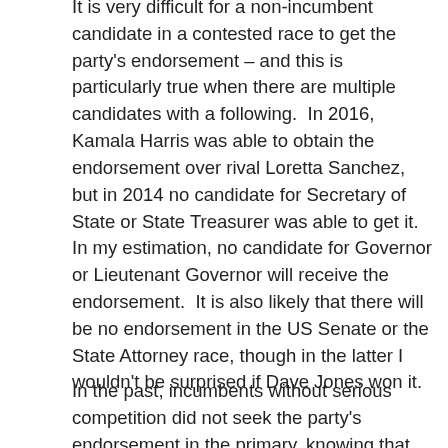It is very difficult for a non-incumbent candidate in a contested race to get the party's endorsement – and this is particularly true when there are multiple candidates with a following.  In 2016, Kamala Harris was able to obtain the endorsement over rival Loretta Sanchez, but in 2014 no candidate for Secretary of State or State Treasurer was able to get it.  In my estimation, no candidate for Governor or Lieutenant Governor will receive the endorsement.  It is also likely that there will be no endorsement in the US Senate or the State Attorney race, though in the latter I wouldn't be surprised if Dave Jones won it.
In the past, incumbents without serious competition did not seek the party's endorsement in the primary, knowing that as the only Democrat in the general, they would automatically receive it.  Alex Padilla and Betty Yee may still take this approach.